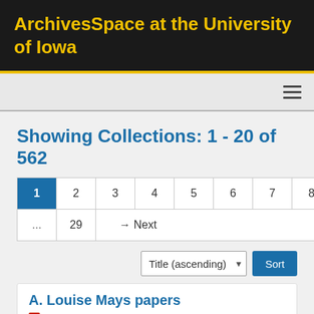ArchivesSpace at the University of Iowa
Showing Collections: 1 - 20 of 562
Pagination: 1 2 3 4 5 6 7 8 9 10 ... 29 → Next
Sort: Title (ascending)
A. Louise Mays papers
Collection   Identifier: IWA0645